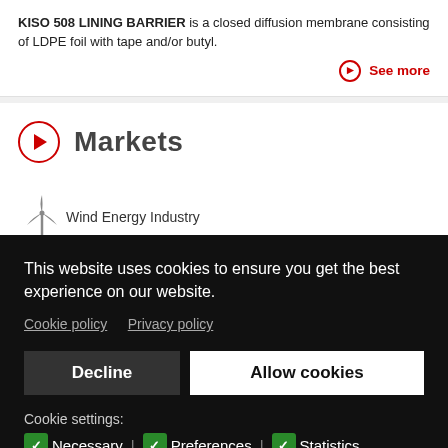KISO 508 LINING BARRIER is a closed diffusion membrane consisting of LDPE foil with tape and/or butyl.
See more
Markets
Wind Energy Industry
This website uses cookies to ensure you get the best experience on our website. Cookie policy  Privacy policy
Decline  Allow cookies
Cookie settings: Necessary | Preferences | Statistics